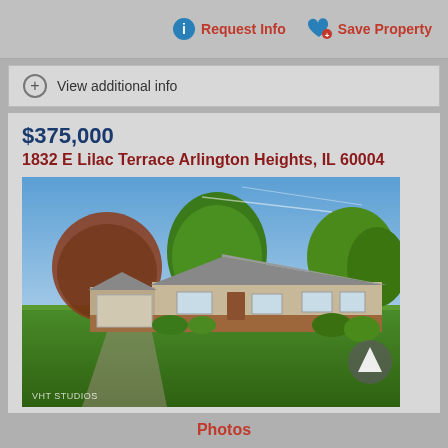Request Info
Save Property
View additional info
$375,000
1832 E Lilac Terrace Arlington Heights, IL 60004
[Figure (photo): Exterior photo of a single-story ranch-style house at 1832 E Lilac Terrace, Arlington Heights IL. Green lawn in foreground, trees surrounding the house, blue sky above. Watermark: VHT STUDIOS.]
Photos